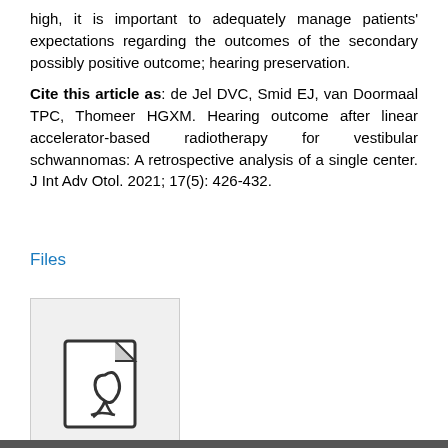high, it is important to adequately manage patients' expectations regarding the outcomes of the secondary possibly positive outcome; hearing preservation.
Cite this article as: de Jel DVC, Smid EJ, van Doormaal TPC, Thomeer HGXM. Hearing outcome after linear accelerator-based radiotherapy for vestibular schwannomas: A retrospective analysis of a single center. J Int Adv Otol. 2021; 17(5): 426-432.
Files
[Figure (other): PDF file icon thumbnail representing a Full Text PDF file]
Full Text PDF